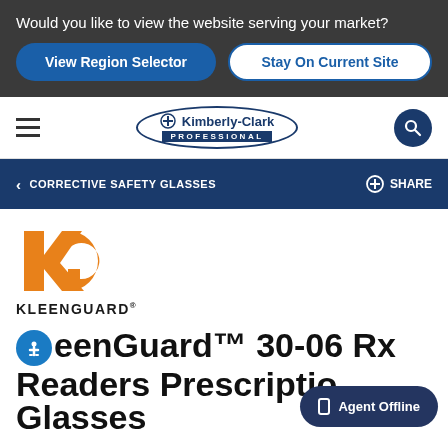Would you like to view the website serving your market?
View Region Selector
Stay On Current Site
[Figure (logo): Kimberly-Clark Professional logo in oval border with navigation hamburger menu and search icon]
< CORRECTIVE SAFETY GLASSES
SHARE
[Figure (logo): KleenGuard orange KG logo mark with KLEENGUARD wordmark below]
KleenGuard™ 30-06 Rx Readers Prescription Glasses